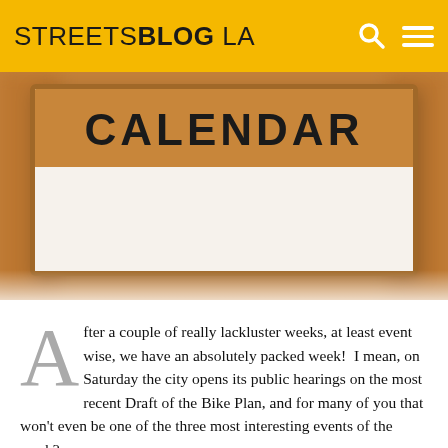STREETSBLOG LA
[Figure (photo): A blurred close-up image of a wooden desk calendar with the word CALENDAR printed on the brown header strip, and a white blank page below.]
After a couple of really lackluster weeks, at least event wise, we have an absolutely packed week! I mean, on Saturday the city opens its public hearings on the most recent Draft of the Bike Plan, and for many of you that won't even be one of the three most interesting events of the week?
Monday – Tuesday – Wednesday – The Metro Board holds hearings on the Draft Environmental